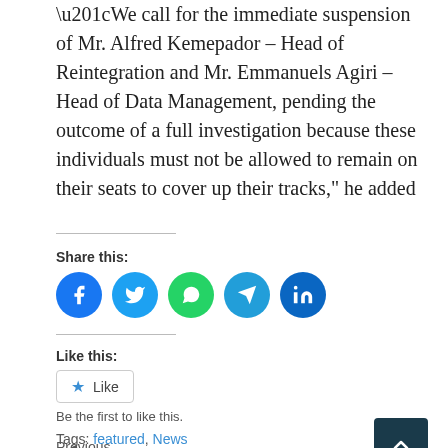“We call for the immediate suspension of Mr. Alfred Kemepador – Head of Reintegration and Mr. Emmanuels Agiri – Head of Data Management, pending the outcome of a full investigation because these individuals must not be allowed to remain on their seats to cover up their tracks,” he added
Share this:
[Figure (infographic): Social media share buttons: Facebook (blue circle), Twitter (blue circle), WhatsApp (green circle), Telegram (blue circle), LinkedIn (dark blue circle)]
Like this:
[Figure (infographic): Like button with star icon]
Be the first to like this.
Tags: featured, News
Previous